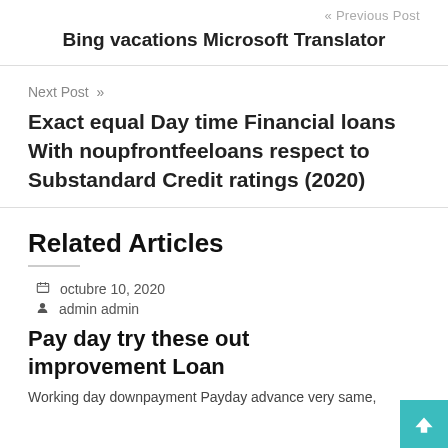« Previous Post
Bing vacations Microsoft Translator
Next Post »
Exact equal Day time Financial loans With noupfrontfeeloans respect to Substandard Credit ratings (2020)
Related Articles
octubre 10, 2020
admin admin
Pay day try these out improvement Loan
Working day downpayment Payday advance very same,